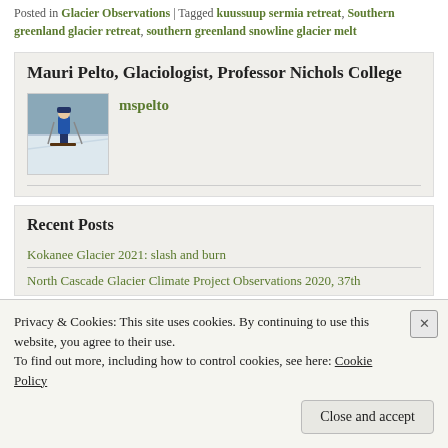Posted in Glacier Observations | Tagged kuussuup sermia retreat, Southern greenland glacier retreat, southern greenland snowline glacier melt
Mauri Pelto, Glaciologist, Professor Nichols College
mspelto
[Figure (photo): Photo of a person on skis on a glacier/snowy terrain]
Recent Posts
Kokanee Glacier 2021: slash and burn
North Cascade Glacier Climate Project Observations 2020, 37th
Privacy & Cookies: This site uses cookies. By continuing to use this website, you agree to their use.
To find out more, including how to control cookies, see here: Cookie Policy
Close and accept